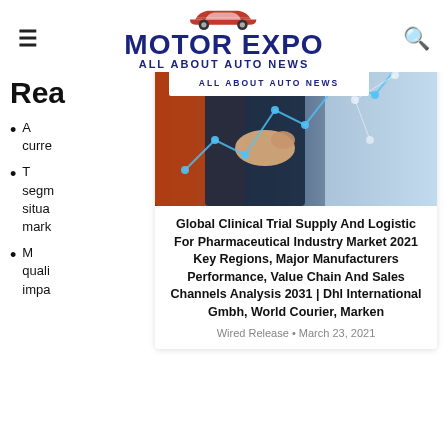Motor Expo – All About Auto News
Rea
A... curre
T... segm... situa... mark
M... quali... impa
[Figure (photo): Person in suit touching a digital network/stock chart graphic overlay; Motor Expo logo with car silhouette and text 'Motor Expo All About Auto News' overlaid at top.]
Global Clinical Trial Supply And Logistic For Pharmaceutical Industry Market 2021 Key Regions, Major Manufacturers Performance, Value Chain And Sales Channels Analysis 2031 | Dhl International Gmbh, World Courier, Marken
Wired Release • March 23, 2021